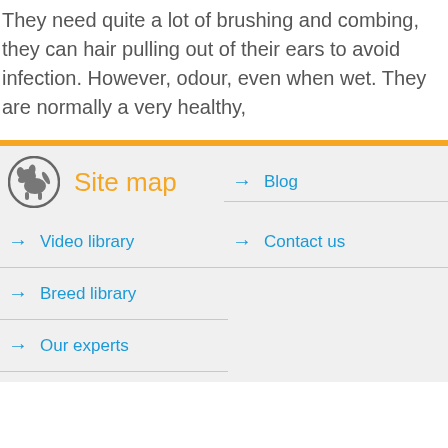They need quite a lot of brushing and combing, they can hair pulling out of their ears to avoid infection. However, odour, even when wet. They are normally a very healthy,
Site map
→ Video library
→ Breed library
→ Our experts
→ Blog
→ Contact us